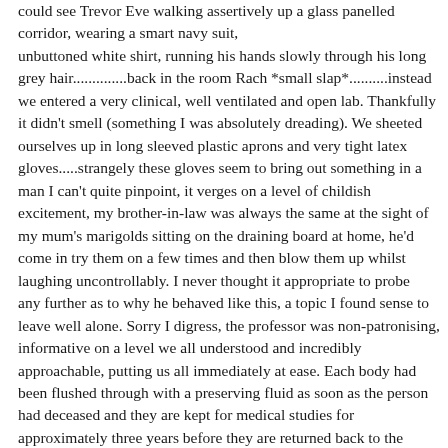could see Trevor Eve walking assertively up a glass panelled corridor, wearing a smart navy suit, unbuttoned white shirt, running his hands slowly through his long grey hair..............back in the room Rach *small slap*..........instead we entered a very clinical, well ventilated and open lab. Thankfully it didn't smell (something I was absolutely dreading). We sheeted ourselves up in long sleeved plastic aprons and very tight latex gloves.....strangely these gloves seem to bring out something in a man I can't quite pinpoint, it verges on a level of childish excitement, my brother-in-law was always the same at the sight of my mum's marigolds sitting on the draining board at home, he'd come in try them on a few times and then blow them up whilst laughing uncontrollably. I never thought it appropriate to probe any further as to why he behaved like this, a topic I found sense to leave well alone. Sorry I digress, the professor was non-patronising, informative on a level we all understood and incredibly approachable, putting us all immediately at ease. Each body had been flushed through with a preserving fluid as soon as the person had deceased and they are kept for medical studies for approximately three years before they are returned back to the family for a burial. The study was as hands on as you wanted it to be, however, I was always very